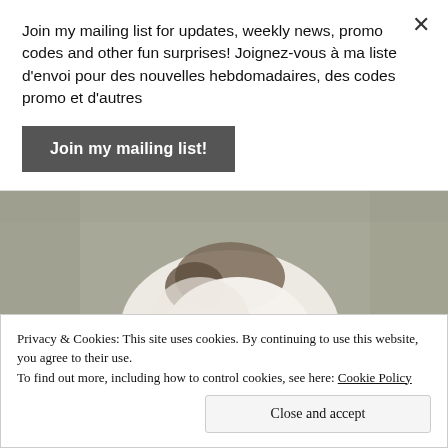Join my mailing list for updates, weekly news, promo codes and other fun surprises! Joignez-vous à ma liste d'envoi pour des nouvelles hebdomadaires, des codes promo et d'autres
Join my mailing list!
[Figure (photo): A white and dark-patched kitten lying on its back on a grey patterned carpet, paws raised.]
Privacy & Cookies: This site uses cookies. By continuing to use this website, you agree to their use.
To find out more, including how to control cookies, see here: Cookie Policy
Close and accept